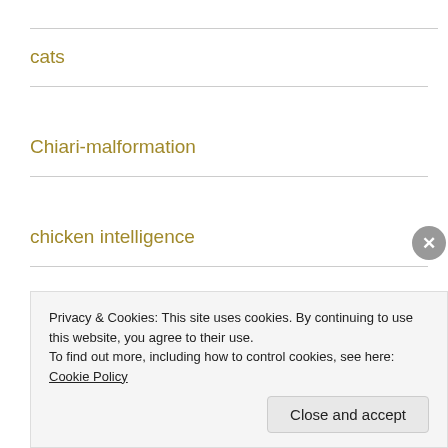cats
Chiari-malformation
chicken intelligence
children
children and dog bites
Privacy & Cookies: This site uses cookies. By continuing to use this website, you agree to their use.
To find out more, including how to control cookies, see here: Cookie Policy
Close and accept